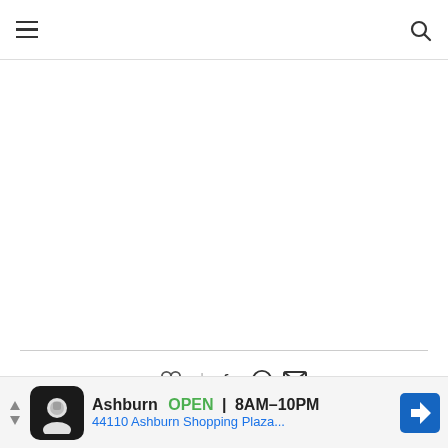Navigation bar with hamburger menu and search icon
[Figure (screenshot): Blank white content area below navigation bar]
0 ♡  |  f  Pinterest  Mail
This website uses cookies to improve your experience. We'll assume
you're...  [accept button]
[Figure (screenshot): Advertisement banner: Ashburn OPEN 8AM-10PM, 44110 Ashburn Shopping Plaza... with map direction icon]